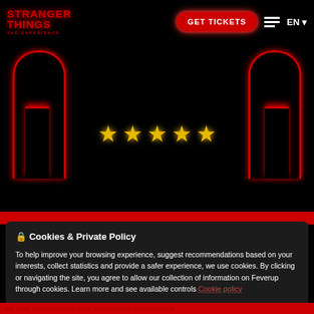STRANGER THINGS THE EXPERIENCE | GET TICKETS | EN
[Figure (illustration): Dark hero section with red neon arch decorations on left and right sides, five gold stars in the center]
🔒 Cookies & Private Policy
To help improve your browsing experience, suggest recommendations based on your interests, collect statistics and provide a safer experience, we use cookies. By clicking or navigating the site, you agree to allow our collection of information on Feverup through cookies. Learn more and see available controls Cookie policy
SETTINGS  ACCEPT COOKIES
BE ONE THE OFFICIAL SAN FRANCISCO EXPERIENCE